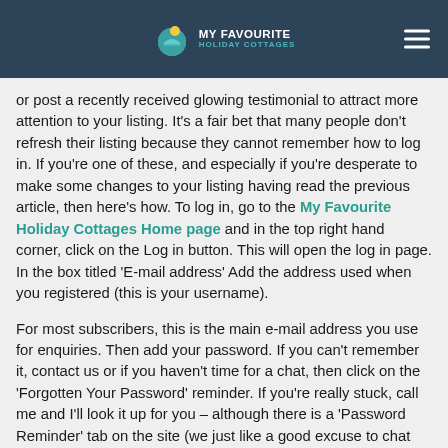MY FAVOURITE HOLIDAY COTTAGES
or post a recently received glowing testimonial to attract more attention to your listing. It's a fair bet that many people don't refresh their listing because they cannot remember how to log in. If you're one of these, and especially if you're desperate to make some changes to your listing having read the previous article, then here's how. To log in, go to the My Favourite Holiday Cottages Home page and in the top right hand corner, click on the Log in button. This will open the log in page. In the box titled 'E-mail address' Add the address used when you registered (this is your username).
For most subscribers, this is the main e-mail address you use for enquiries. Then add your password. If you can't remember it, contact us or if you haven't time for a chat, then click on the 'Forgotten Your Password' reminder. If you're really stuck, call me and I'll look it up for you – although there is a 'Password Reminder' tab on the site (we just like a good excuse to chat with subscribers!) Once you are logged in, the column on the left contains all the different menu options. Just select the one that describes